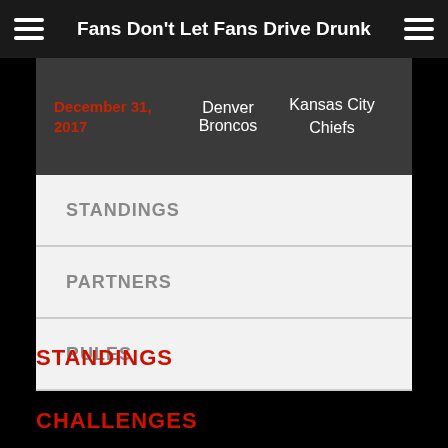Fans Don't Let Fans Drive Drunk
| Date | Team 1 | Team 2 |
| --- | --- | --- |
| December 31, 2017 | Denver Broncos | Kansas City Chiefs |
STANDINGS
PARTNERS
RULES
STANDINGS
CHALLENGES